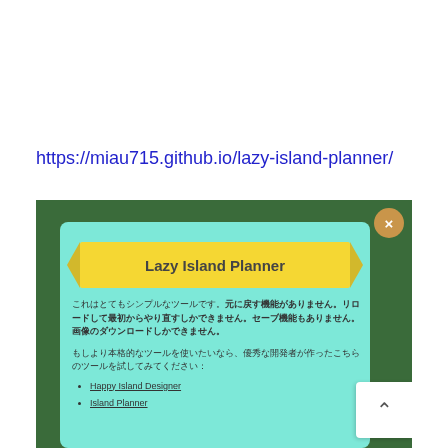https://miau715.github.io/lazy-island-planner/
[Figure (screenshot): Screenshot of Lazy Island Planner web app showing a teal modal dialog with yellow ribbon banner titled 'Lazy Island Planner', Japanese text description, and links to Happy Island Designer and Island Planner. Dark green background with game map visible. White scroll-up button at bottom right.]